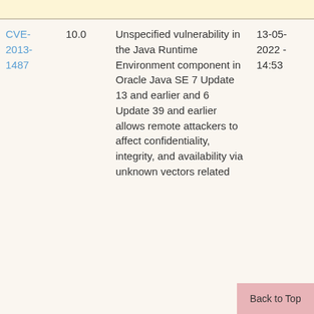| CVE | Score | Description | Date 1 | Date 2 |
| --- | --- | --- | --- | --- |
| CVE-2013-1487 | 10.0 | Unspecified vulnerability in the Java Runtime Environment component in Oracle Java SE 7 Update 13 and earlier and 6 Update 39 and earlier allows remote attackers to affect confidentiality, integrity, and availability via unknown vectors related | 13-05-2022 - 14:53 | 20-02-2013 - 21:55 |